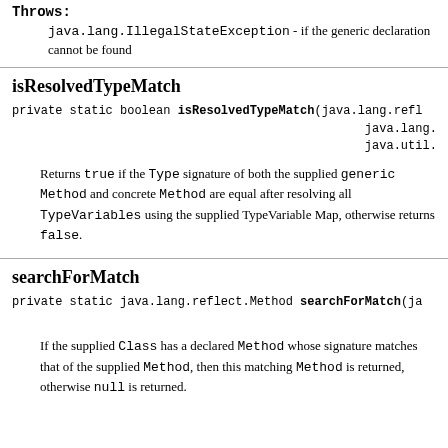Throws:
java.lang.IllegalStateException - if the generic declaration cannot be found
isResolvedTypeMatch
private static boolean isResolvedTypeMatch(java.lang.refl... java.lang.refl... java.util.Map...
Returns true if the Type signature of both the supplied generic Method and concrete Method are equal after resolving all TypeVariables using the supplied TypeVariable Map, otherwise returns false.
searchForMatch
private static java.lang.reflect.Method searchForMatch(ja... ja...
If the supplied Class has a declared Method whose signature matches that of the supplied Method, then this matching Method is returned, otherwise null is returned.